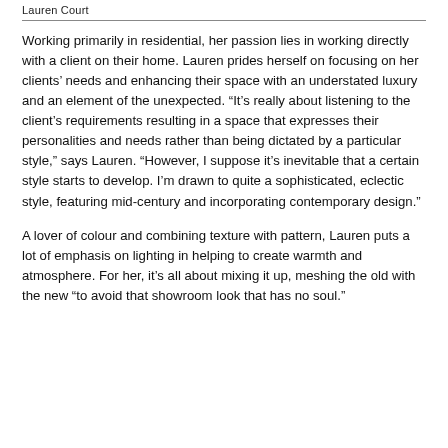Lauren Court
Working primarily in residential, her passion lies in working directly with a client on their home. Lauren prides herself on focusing on her clients' needs and enhancing their space with an understated luxury and an element of the unexpected. “It’s really about listening to the client’s requirements resulting in a space that expresses their personalities and needs rather than being dictated by a particular style,” says Lauren. “However, I suppose it’s inevitable that a certain style starts to develop. I’m drawn to quite a sophisticated, eclectic style, featuring mid-century and incorporating contemporary design.”
A lover of colour and combining texture with pattern, Lauren puts a lot of emphasis on lighting in helping to create warmth and atmosphere. For her, it’s all about mixing it up, meshing the old with the new “to avoid that showroom look that has no soul.”